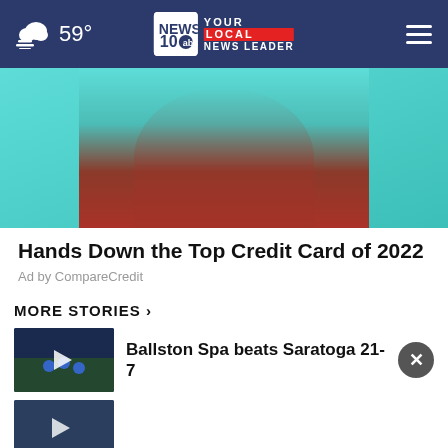59° | NEWS 10 YOUR LOCAL NEWS LEADER
[Figure (photo): Woman in red sweater holding sunglasses up to face on teal background — advertisement image for credit card offer]
Hands Down the Top Credit Card of 2022
Ad by CompareCredit
MORE STORIES ›
[Figure (photo): Football players on field — thumbnail for Ballston Spa beats Saratoga story with play button overlay]
Ballston Spa beats Saratoga 21-7
[Figure (photo): Second news story thumbnail with play button]
Ashburn OPEN | 7:30AM–6PM
43781 Parkhurst Plaza, Ashburn